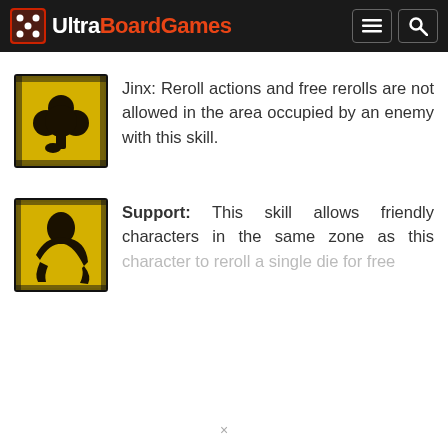UltraBoardGames
[Figure (illustration): Jinx skill icon - yellow/gold background with black four-leaf clover silhouette]
Jinx: Reroll actions and free rerolls are not allowed in the area occupied by an enemy with this skill.
[Figure (illustration): Support skill icon - yellow/gold background with black figure/arm silhouette]
Support: This skill allows friendly characters in the same zone as this character to reroll a single die for free...